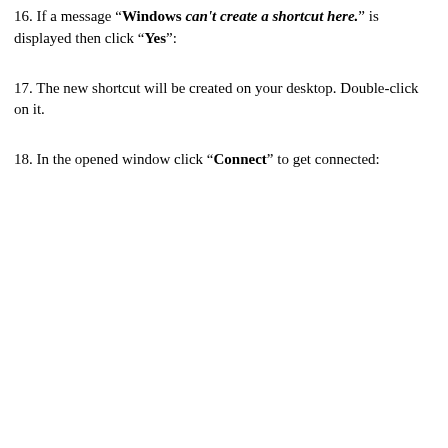16. If a message "Windows can't create a shortcut here." is displayed then click "Yes":
17. The new shortcut will be created on your desktop. Double-click on it.
18. In the opened window click "Connect" to get connected: